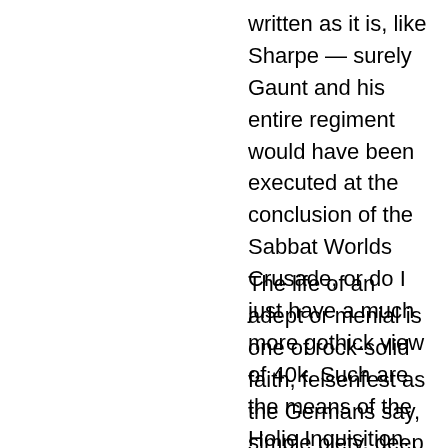written as it is, like Sharpe — surely Gaunt and his entire regiment would have been executed at the conclusion of the Sabbat Worlds Crusade, or do I just have a much more gothick view of 40k. Such are the means of the Holie Inquisition.
The life of an adept or menial is one of rock-solid faith, felsenfest as the Germans say, simple piety, deep ignorance (yet a glorious ignorance, a holy ignorance, things not understood are gifts from